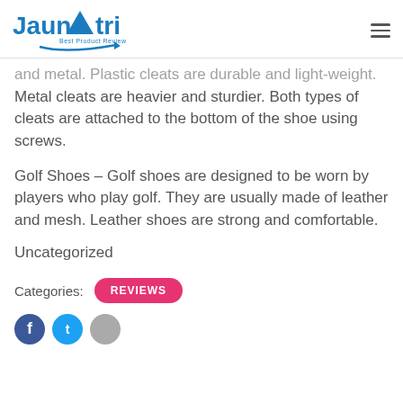Jaunatri — Best Product Review
and metal. Plastic cleats are durable and light-weight. Metal cleats are heavier and sturdier. Both types of cleats are attached to the bottom of the shoe using screws.
Golf Shoes – Golf shoes are designed to be worn by players who play golf. They are usually made of leather and mesh. Leather shoes are strong and comfortable.
Uncategorized
Categories: REVIEWS